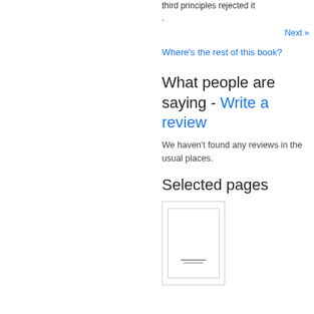third principles rejected it .
Next »
Where's the rest of this book?
What people are saying - Write a review
We haven't found any reviews in the usual places.
Selected pages
[Figure (illustration): Thumbnail image of a book page with inner border frame and small text lines at the bottom center]